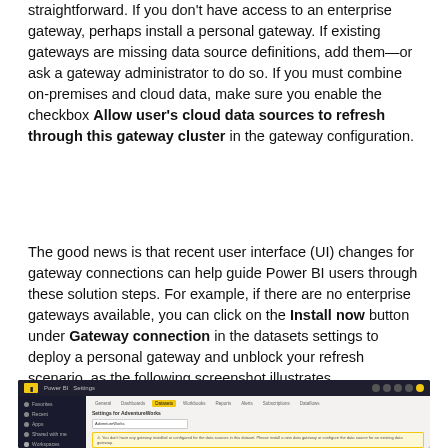straightforward. If you don't have access to an enterprise gateway, perhaps install a personal gateway. If existing gateways are missing data source definitions, add them—or ask a gateway administrator to do so. If you must combine on-premises and cloud data, make sure you enable the checkbox Allow user's cloud data sources to refresh through this gateway cluster in the gateway configuration.
The good news is that recent user interface (UI) changes for gateway connections can help guide Power BI users through these solution steps. For example, if there are no enterprise gateways available, you can click on the Install now button under Gateway connection in the datasets settings to deploy a personal gateway and unblock your refresh scenario, as the following screenshot illustrates.
[Figure (screenshot): Screenshot of Power BI Settings page showing Gateway connection settings for AdventureWorks dataset, with a yellow warning message about no gateway installed or configured for the data sources.]